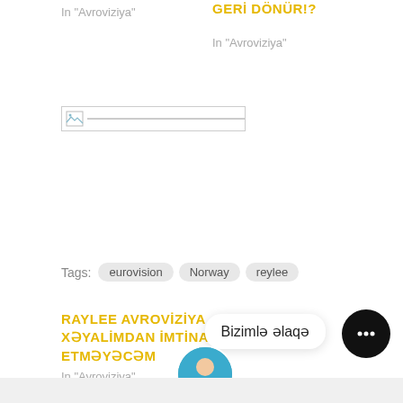In "Avroviziya"
GERİ DÖNÜR!?
In "Avroviziya"
[Figure (other): Broken image placeholder with border]
RAYLEE AVROVİZİYA XƏYALİMDAN İMTİNA ETMƏYƏCƏM
In "Avroviziya"
Tags:  eurovision  Norway  reylee
Bizimlə əlaqə